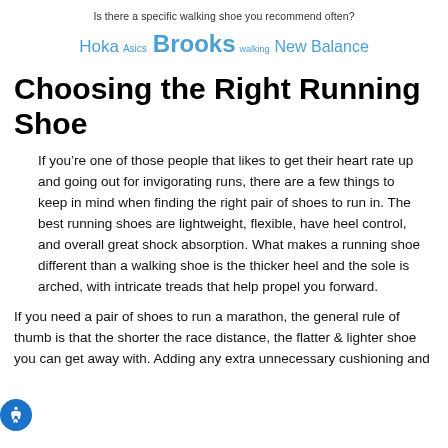Is there a specific walking shoe you recommend often?
[Figure (infographic): Brand name tag cloud showing Hoka, Asics, Brooks, walking, New Balance in teal/blue colors of varying sizes]
Choosing the Right Running Shoe
If you’re one of those people that likes to get their heart rate up and going out for invigorating runs, there are a few things to keep in mind when finding the right pair of shoes to run in. The best running shoes are lightweight, flexible, have heel control, and overall great shock absorption. What makes a running shoe different than a walking shoe is the thicker heel and the sole is arched, with intricate treads that help propel you forward.
If you need a pair of shoes to run a marathon, the general rule of thumb is that the shorter the race distance, the flatter & lighter shoe you can get away with. Adding any extra unnecessary cushioning and